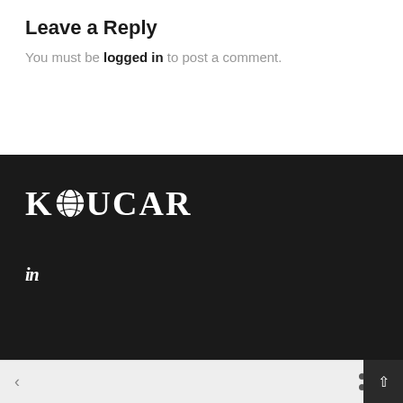Leave a Reply
You must be logged in to post a comment.
[Figure (logo): Koucar logo in white serif font on dark background, with a globe icon replacing the letter O]
[Figure (logo): LinkedIn 'in' icon in white on dark background]
Copyright 2022 @ Koucar. Powered by Element 22 Media Group.